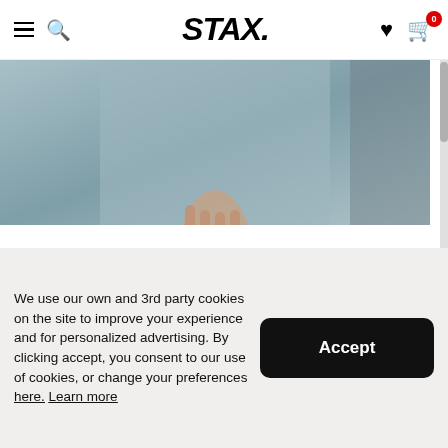STAX. navigation bar with hamburger menu, search, logo, heart, and cart (0 items)
[Figure (photo): Product photo showing a person wearing a blue/teal seamless crop top (STAX. Premium Seamless V4 Strappy Crop in Trench Blue). Close-up torso view.]
STAX. PREMIUM SEAMLESS V4 STRAPPY CROP - TRENCH BLUE
$89
We use our own and 3rd party cookies on the site to improve your experience and for personalized advertising. By clicking accept, you consent to our use of cookies, or change your preferences here. Learn more